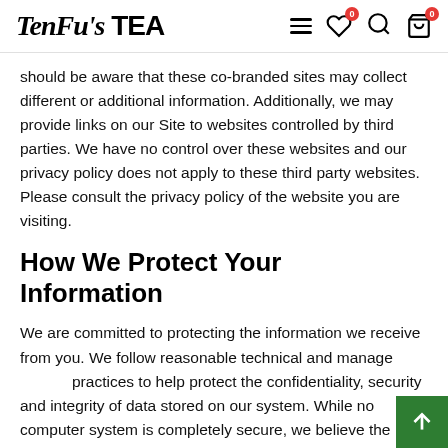TenFu's TEA
should be aware that these co-branded sites may collect different or additional information. Additionally, we may provide links on our Site to websites controlled by third parties. We have no control over these websites and our privacy policy does not apply to these third party websites. Please consult the privacy policy of the website you are visiting.
How We Protect Your Information
We are committed to protecting the information we receive from you. We follow reasonable technical and management practices to help protect the confidentiality, security and integrity of data stored on our system. While no computer system is completely secure, we believe the measures we have implemented reduce the likelihood of security problems to a level appropriate to the type of data involved.